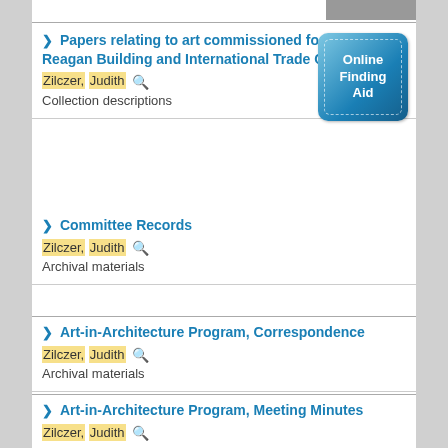[Figure (photo): Small thumbnail image at top right corner]
Papers relating to art commissioned for the Ronald Reagan Building and International Trade Center
[Figure (other): Online Finding Aid button - blue gradient square button with dashed border]
Zilczer, Judith
Collection descriptions
Committee Records
Zilczer, Judith
Archival materials
Art-in-Architecture Program, Correspondence
Zilczer, Judith
Archival materials
Art-in-Architecture Program, Meeting Minutes
Zilczer, Judith